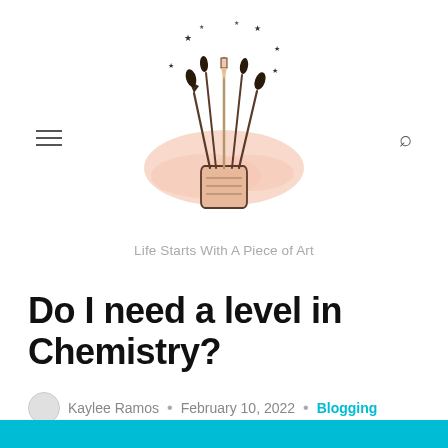[Figure (logo): Art blog logo: illustration of paint brushes and pencils in a cup with a pink watercolor splash background, stars scattered above. Text below reads 'Life Starts With A Piece of Art']
Do I need a level in Chemistry?
Kaylee Ramos • February 10, 2022 • Blogging